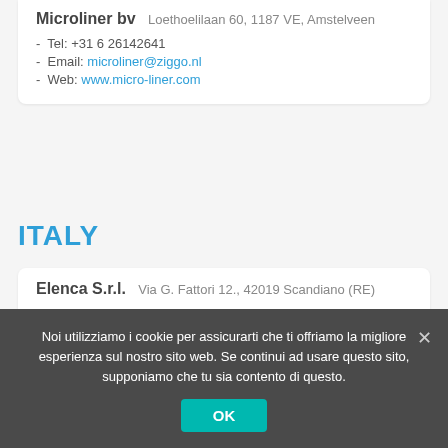Microliner bv   Loethoelilaan 60, 1187 VE, Amstelveen
Tel: +31 6 26142641
Email: microliner@ziggo.nl
Web: www.micro-liner.com
ITALY
Elenca S.r.l.   Via G. Fattori 12., 42019 Scandiano (RE)
Tel: +39 0522 76 6611
Mobile: +39 0522 98 6694
Email: info@elenca.it
Web: www.elenca.it
Noi utilizziamo i cookie per assicurarti che ti offriamo la migliore esperienza sul nostro sito web. Se continui ad usare questo sito, supponiamo che tu sia contento di questo.